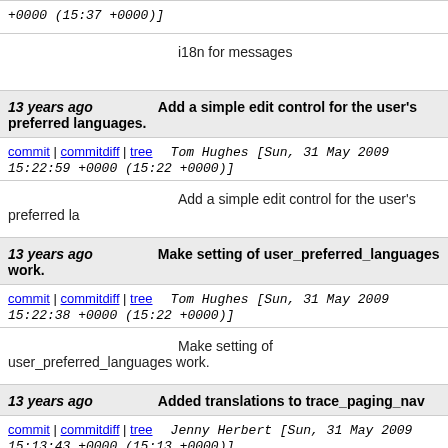+0000 (15:37 +0000)]
i18n for messages
13 years ago  Add a simple edit control for the user's preferred languages.
commit | commitdiff | tree  Tom Hughes [Sun, 31 May 2009 15:22:59 +0000 (15:22 +0000)]
Add a simple edit control for the user's preferred la
13 years ago  Make setting of user_preferred_languages work.
commit | commitdiff | tree  Tom Hughes [Sun, 31 May 2009 15:22:38 +0000 (15:22 +0000)]
Make setting of user_preferred_languages work.
13 years ago  Added translations to trace_paging_nav
commit | commitdiff | tree  Jenny Herbert [Sun, 31 May 2009 15:13:43 +0000 (15:13 +0000)]
Added translations to trace_paging_nav
13 years ago  Added the status to git log